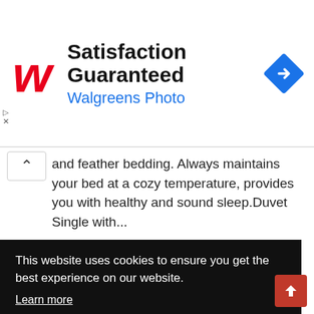[Figure (screenshot): Walgreens Photo advertisement banner with red cursive W logo, 'Satisfaction Guaranteed' title, 'Walgreens Photo' subtitle in blue, and a blue diamond arrow icon on the right]
and feather bedding. Always maintains your bed at a cozy temperature, provides you with healthy and sound sleep.Duvet Single with...
1st Choice Superseal Ltd
This website uses cookies to ensure you get the best experience on our website.
Learn more
Got it!
field,
Birmingham Forces Discount: